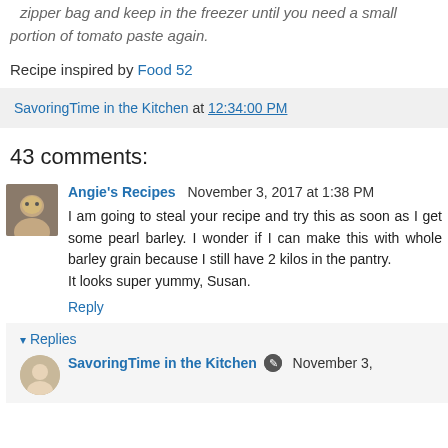tablespoon portions in plastic wrap bundles. Place inside a zipper bag and keep in the freezer until you need a small portion of tomato paste again.
Recipe inspired by Food 52
SavoringTime in the Kitchen at 12:34:00 PM
43 comments:
Angie's Recipes  November 3, 2017 at 1:38 PM
I am going to steal your recipe and try this as soon as I get some pearl barley. I wonder if I can make this with whole barley grain because I still have 2 kilos in the pantry.
It looks super yummy, Susan.
Reply
Replies
SavoringTime in the Kitchen  November 3,